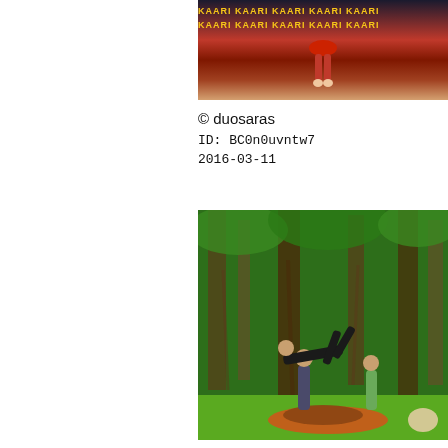[Figure (photo): A performer in red costume at a KAARI branded event, legs visible from below on a stage floor.]
© duosaras
ID: BC0n0uvntw7
2016-03-11
[Figure (photo): Group of acrobats performing acroyoga outdoors under large banyan trees on green grass.]
© artsy_blue
ID: BCz1eweogC6
2016-03-11